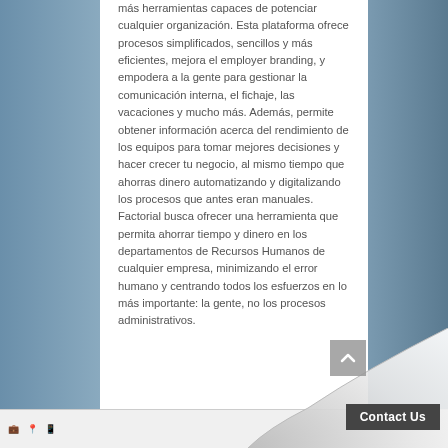más herramientas capaces de potenciar cualquier organización. Esta plataforma ofrece procesos simplificados, sencillos y más eficientes, mejora el employer branding, y empodera a la gente para gestionar la comunicación interna, el fichaje, las vacaciones y mucho más. Además, permite obtener información acerca del rendimiento de los equipos para tomar mejores decisiones y hacer crecer tu negocio, al mismo tiempo que ahorras dinero automatizando y digitalizando los procesos que antes eran manuales. Factorial busca ofrecer una herramienta que permita ahorrar tiempo y dinero en los departamentos de Recursos Humanos de cualquier empresa, minimizando el error humano y centrando todos los esfuerzos en lo más importante: la gente, no los procesos administrativos.
Contact Us